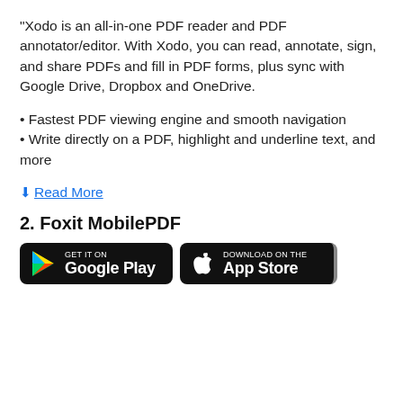“Xodo is an all-in-one PDF reader and PDF annotator/editor. With Xodo, you can read, annotate, sign, and share PDFs and fill in PDF forms, plus sync with Google Drive, Dropbox and OneDrive.
Fastest PDF viewing engine and smooth navigation
Write directly on a PDF, highlight and underline text, and more
↓ Read More
2. Foxit MobilePDF
[Figure (other): Two app store download buttons side by side: 'GET IT ON Google Play' and 'Download on the App Store']